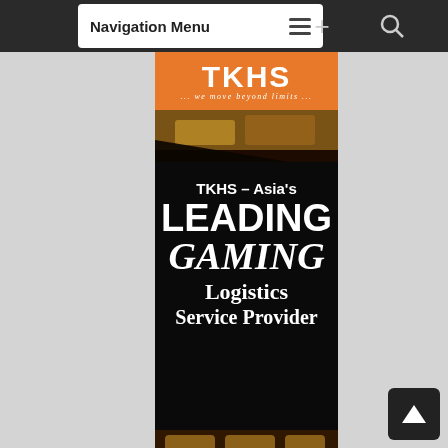Navigation Menu
[Figure (screenshot): TKHS logo banner with orange background, white bold letters TKHS, tagline '... we move beyond limits ...']
[Figure (photo): Casino floor aerial view with gaming tables and people]
TKHS - Asia's LEADING GAMING Logistics Service Provider
[Figure (photo): Casino floor aerial view with gaming tables, slot machines showing 1000, and people in red hats]